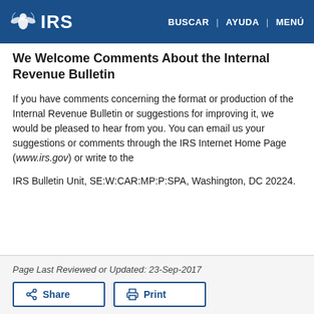IRS | BUSCAR | AYUDA | MENÚ
We Welcome Comments About the Internal Revenue Bulletin
If you have comments concerning the format or production of the Internal Revenue Bulletin or suggestions for improving it, we would be pleased to hear from you. You can email us your suggestions or comments through the IRS Internet Home Page (www.irs.gov) or write to the
IRS Bulletin Unit, SE:W:CAR:MP:P:SPA, Washington, DC 20224.
Page Last Reviewed or Updated: 23-Sep-2017